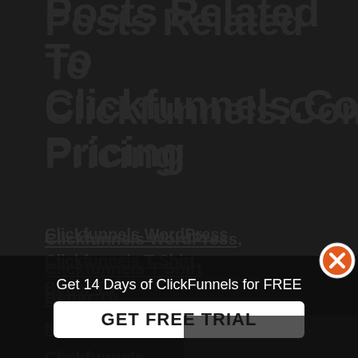Posts Related To Clickfunnels.Com Pricing
Clickfunnels WordPress,
Clickfunnels T Shirt
Better Th...
Kajabi Vs Clickfunnels,
Clickfunnels...
Clickfunnels Account
Does Clickfunnels Work With WordPress
Is Clickfunnels Good For Freelancers
Boot Camp Click Funnels
Clickfunnels And Mailchimp,
Clickfunnels Linkedin
Get 14 Days of ClickFunnels for FREE
GET FREE TRIAL